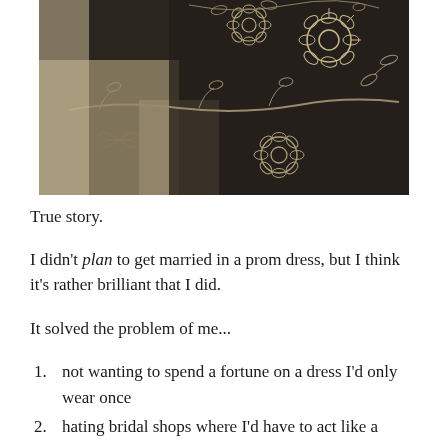[Figure (photo): Close-up of an embroidered dress or gown with floral and leaf patterns stitched in light thread on dark fabric, with a lighter bodice section visible.]
True story.
I didn't plan to get married in a prom dress, but I think it's rather brilliant that I did.
It solved the problem of me...
not wanting to spend a fortune on a dress I'd only wear once
hating bridal shops where I'd have to act like a